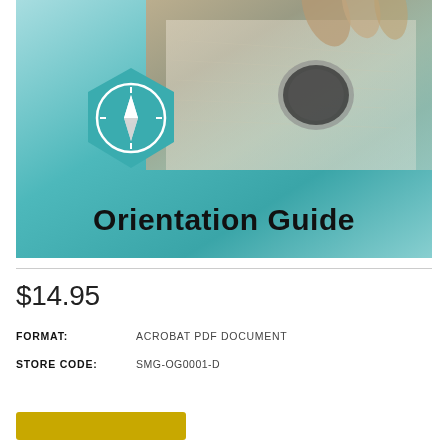[Figure (illustration): Cover image for Orientation Guide showing a hand holding a compass over a map, with a teal hexagonal compass icon overlay and the text 'Orientation Guide' at the bottom]
$14.95
FORMAT:    ACROBAT PDF DOCUMENT
STORE CODE:    SMG-OG0001-D